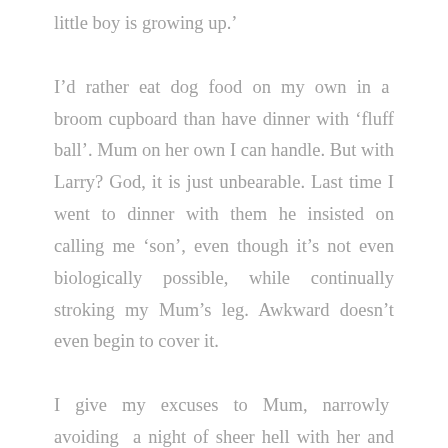little boy is growing up.'
I’d rather eat dog food on my own in a broom cupboard than have dinner with ‘fluff ball’. Mum on her own I can handle. But with Larry? God, it is just unbearable. Last time I went to dinner with them he insisted on calling me ‘son’, even though it’s not even biologically possible, while continually stroking my Mum’s leg. Awkward doesn’t even begin to cover it.
I give my excuses to Mum, narrowly avoiding a night of sheer hell with her and her peculiar lover, and then I decide to text Pete to arrange drinks after